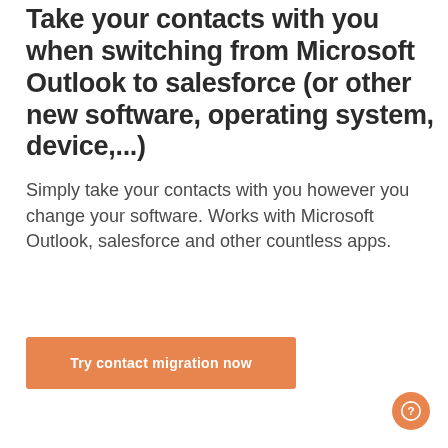Take your contacts with you when switching from Microsoft Outlook to salesforce (or other new software, operating system, device,...)
Simply take your contacts with you however you change your software. Works with Microsoft Outlook, salesforce and other countless apps.
Try contact migration now